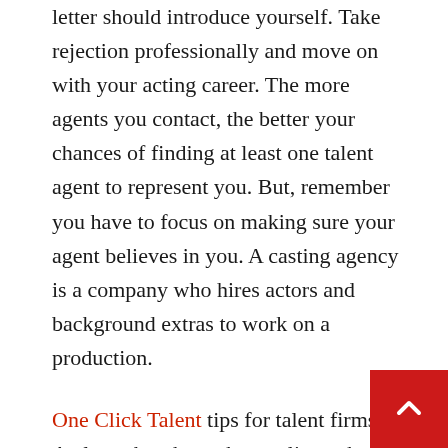letter should introduce yourself. Take rejection professionally and move on with your acting career. The more agents you contact, the better your chances of finding at least one talent agent to represent you. But, remember you have to focus on making sure your agent believes in you. A casting agency is a company who hires actors and background extras to work on a production.
One Click Talent tips for talent firms : A glossy brochure shows clients that your agency is professional. Feature your top models on the brochure to showcase the the diversity your agency can provide. For example, you might have a high fashion photo, a picture of your models at a runway show and a group of models in a fun pose or two. Each of your models should have a